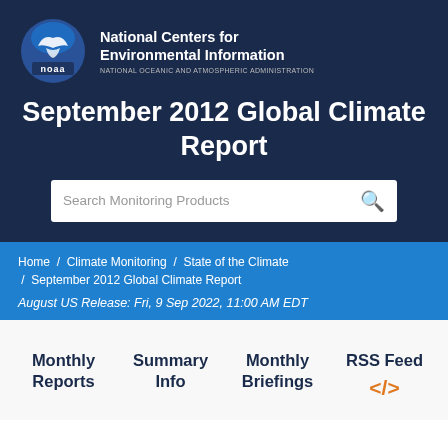[Figure (logo): NOAA circular logo with eagle and globe, National Centers for Environmental Information, National Oceanic and Atmospheric Administration]
September 2012 Global Climate Report
Search Monitoring Products
Home / Climate Monitoring / State of the Climate / September 2012 Global Climate Report
August US Release: Fri, 9 Sep 2022, 11:00 AM EDT
Monthly Reports
Summary Info
Monthly Briefings
RSS Feed